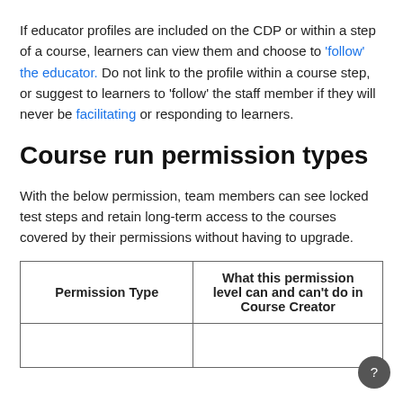If educator profiles are included on the CDP or within a step of a course, learners can view them and choose to 'follow' the educator. Do not link to the profile within a course step, or suggest to learners to 'follow' the staff member if they will never be facilitating or responding to learners.
Course run permission types
With the below permission, team members can see locked test steps and retain long-term access to the courses covered by their permissions without having to upgrade.
| Permission Type | What this permission level can and can't do in Course Creator |
| --- | --- |
|  |  |